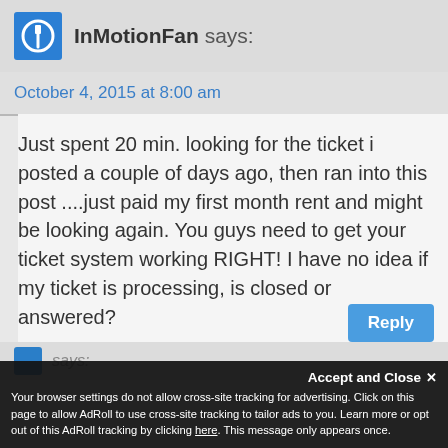InMotionFan says:
October 4, 2015 at 8:00 am
Just spent 20 min. looking for the ticket i posted a couple of days ago, then ran into this post ....just paid my first month rent and might be looking again. You guys need to get your ticket system working RIGHT! I have no idea if my ticket is processing, is closed or answered?
Reply
Accept and Close
Your browser settings do not allow cross-site tracking for advertising. Click on this page to allow AdRoll to use cross-site tracking to tailor ads to you. Learn more or opt out of this AdRoll tracking by clicking here. This message only appears once.